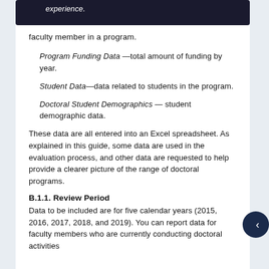experience.
faculty member in a program.
Program Funding Data —total amount of funding by year.
Student Data—data related to students in the program.
Doctoral Student Demographics — student demographic data.
These data are all entered into an Excel spreadsheet. As explained in this guide, some data are used in the evaluation process, and other data are requested to help provide a clearer picture of the range of doctoral programs.
B.1.1. Review Period
Data to be included are for five calendar years (2015, 2016, 2017, 2018, and 2019). You can report data for faculty members who are currently conducting doctoral activities